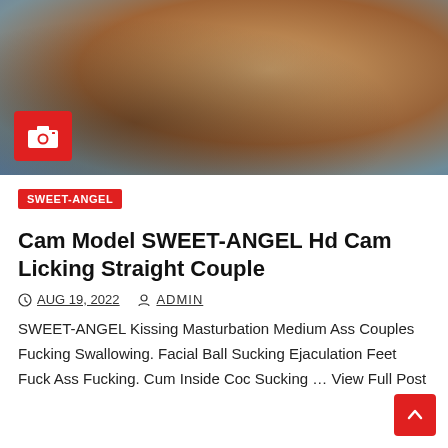[Figure (photo): Blurred photo of a person in lingerie on a bed with star-patterned sheets, holding a laptop. A red camera icon badge is visible in the lower left of the image.]
SWEET-ANGEL
Cam Model SWEET-ANGEL Hd Cam Licking Straight Couple
AUG 19, 2022   ADMIN
SWEET-ANGEL Kissing Masturbation Medium Ass Couples Fucking Swallowing. Facial Ball Sucking Ejaculation Feet Fuck Ass Fucking. Cum Inside Coc Sucking … View Full Post